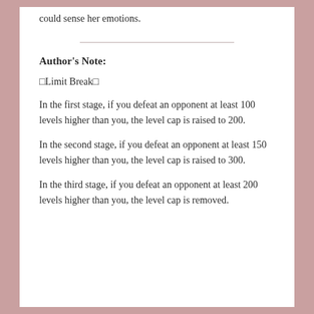could sense her emotions.
Author's Note:
□Limit Break□
In the first stage, if you defeat an opponent at least 100 levels higher than you, the level cap is raised to 200.
In the second stage, if you defeat an opponent at least 150 levels higher than you, the level cap is raised to 300.
In the third stage, if you defeat an opponent at least 200 levels higher than you, the level cap is removed.